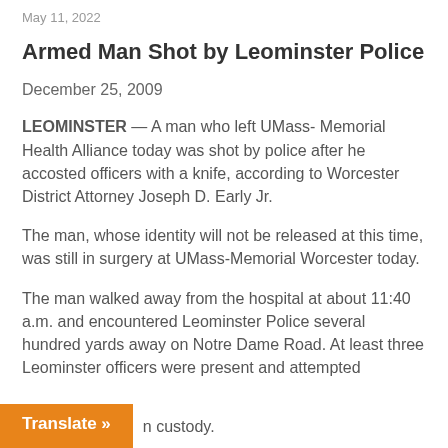May 11, 2022
Armed Man Shot by Leominster Police
December 25, 2009
LEOMINSTER — A man who left UMass- Memorial Health Alliance today was shot by police after he accosted officers with a knife, according to Worcester District Attorney Joseph D. Early Jr.
The man, whose identity will not be released at this time, was still in surgery at UMass-Memorial Worcester today.
The man walked away from the hospital at about 11:40 a.m. and encountered Leominster Police several hundred yards away on Notre Dame Road. At least three Leominster officers were present and attempted to take him into custody.